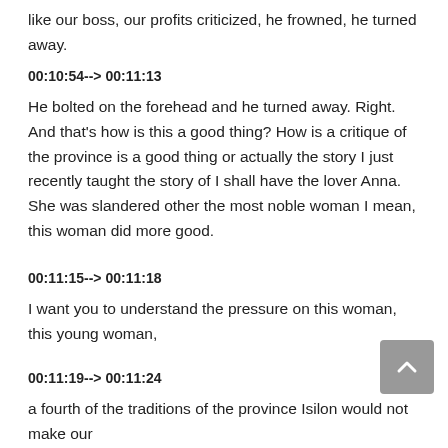like our boss, our profits criticized, he frowned, he turned away.
00:10:54--> 00:11:13
He bolted on the forehead and he turned away. Right. And that's how is this a good thing? How is a critique of the province is a good thing or actually the story I just recently taught the story of I shall have the lover Anna. She was slandered other the most noble woman I mean, this woman did more good.
00:11:15--> 00:11:18
I want you to understand the pressure on this woman, this young woman,
00:11:19--> 00:11:24
a fourth of the traditions of the province Isilon would not make our